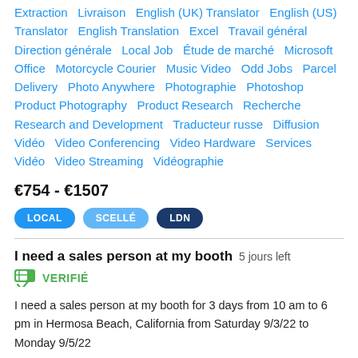Extraction  Livraison  English (UK) Translator  English (US) Translator  English Translation  Excel  Travail général  Direction générale  Local Job  Étude de marché  Microsoft Office  Motorcycle Courier  Music Video  Odd Jobs  Parcel Delivery  Photo Anywhere  Photographie  Photoshop  Product Photography  Product Research  Recherche  Research and Development  Traducteur russe  Diffusion Vidéo  Video Conferencing  Video Hardware  Services Vidéo  Video Streaming  Vidéographie
€754 - €1507
LOCAL  SCELLÉ  LDN
I need a sales person at my booth  5 jours left
VERIFIÉ
I need a sales person at my booth for 3 days from 10 am to 6 pm in Hermosa Beach, California from Saturday 9/3/22 to Monday 9/5/22